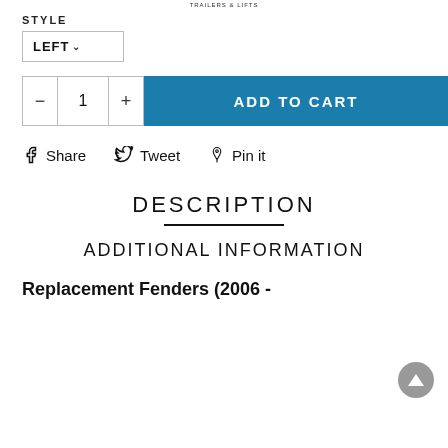TRAILERS & LIFTS
STYLE
LEFT
ADD TO CART
Share   Tweet   Pin it
DESCRIPTION
ADDITIONAL INFORMATION
Replacement Fenders (2006 -